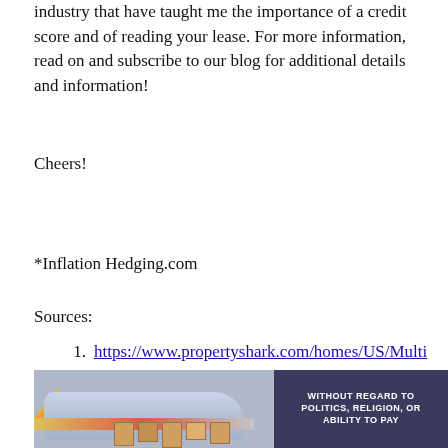industry that have taught me the importance of a credit score and of reading your lease. For more information, read on and subscribe to our blog for additional details and information!
Cheers!
*Inflation Hedging.com
Sources:
https://www.propertyshark.com/homes/US/Multi-Family-Homes-For-Sale/FL.html
[Figure (photo): Advertisement image showing a cargo aircraft being loaded, with an ad banner reading 'WITHOUT REGARD TO POLITICS, RELIGION, OR ABILITY TO PAY']